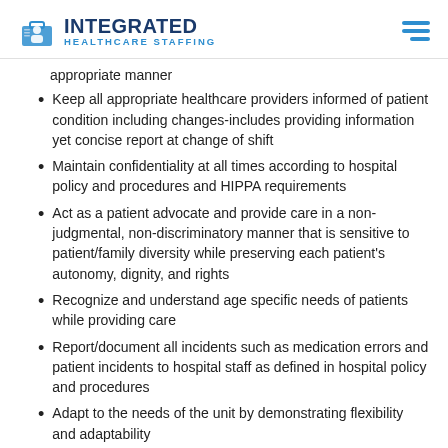INTEGRATED HEALTHCARE STAFFING
appropriate manner
Keep all appropriate healthcare providers informed of patient condition including changes-includes providing information yet concise report at change of shift
Maintain confidentiality at all times according to hospital policy and procedures and HIPPA requirements
Act as a patient advocate and provide care in a non-judgmental, non-discriminatory manner that is sensitive to patient/family diversity while preserving each patient's autonomy, dignity, and rights
Recognize and understand age specific needs of patients while providing care
Report/document all incidents such as medication errors and patient incidents to hospital staff as defined in hospital policy and procedures
Adapt to the needs of the unit by demonstrating flexibility and adaptability
Use good nursing judgment at all times